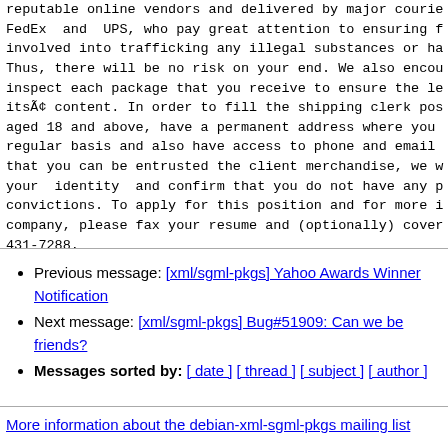reputable online vendors and delivered by major courie... FedEx and UPS, who pay great attention to ensuring f... involved into trafficking any illegal substances or ha... Thus, there will be no risk on your end. We also encou... inspect each package that you receive to ensure the le... itsÃ¢ content. In order to fill the shipping clerk pos... aged 18 and above, have a permanent address where you... regular basis and also have access to phone and email... that you can be entrusted the client merchandise, we w... your identity and confirm that you do not have any p... convictions. To apply for this position and for more i... company, please fax your resume and (optionally) cover... 431-7288.
Previous message: [xml/sgml-pkgs] Yahoo Awards Winner Notification
Next message: [xml/sgml-pkgs] Bug#51909: Can we be friends?
Messages sorted by: [ date ] [ thread ] [ subject ] [ author ]
More information about the debian-xml-sgml-pkgs mailing list